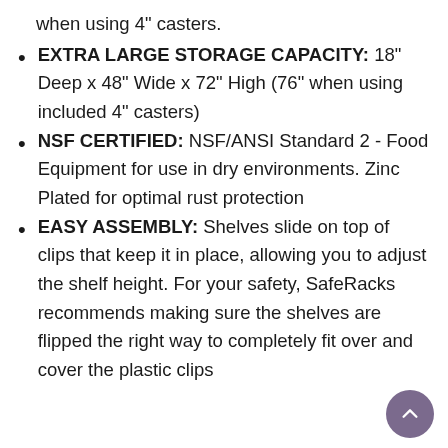when using 4" casters.
EXTRA LARGE STORAGE CAPACITY: 18" Deep x 48" Wide x 72" High (76" when using included 4" casters)
NSF CERTIFIED: NSF/ANSI Standard 2 - Food Equipment for use in dry environments. Zinc Plated for optimal rust protection
EASY ASSEMBLY: Shelves slide on top of clips that keep it in place, allowing you to adjust the shelf height. For your safety, SafeRacks recommends making sure the shelves are flipped the right way to completely fit over and cover the plastic clips